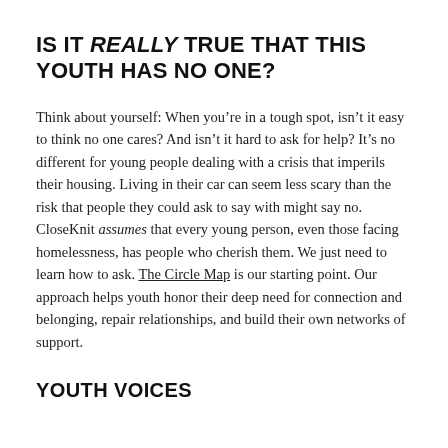IS IT REALLY TRUE THAT THIS YOUTH HAS NO ONE?
Think about yourself: When you’re in a tough spot, isn’t it easy to think no one cares? And isn’t it hard to ask for help? It’s no different for young people dealing with a crisis that imperils their housing. Living in their car can seem less scary than the risk that people they could ask to say with might say no. CloseKnit assumes that every young person, even those facing homelessness, has people who cherish them. We just need to learn how to ask. The Circle Map is our starting point. Our approach helps youth honor their deep need for connection and belonging, repair relationships, and build their own networks of support.
YOUTH VOICES